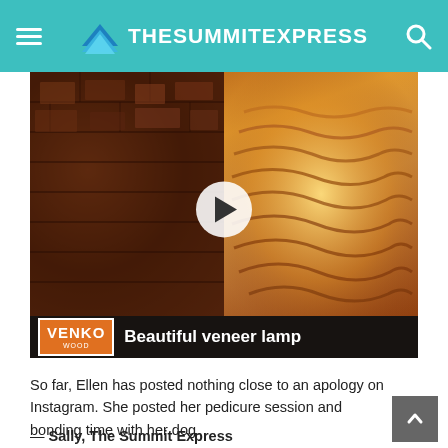TheSummitExpress
[Figure (screenshot): Video thumbnail showing a decorative wood veneer lamp glowing with warm light on the right, and a dark brick wall texture on the left, with a play button in the center. A caption bar at the bottom shows 'VENKO WOOD' badge and 'Beautiful veneer lamp' text.]
So far, Ellen has posted nothing close to an apology on Instagram. She posted her pedicure session and bonding time with her dog.
— Sally, The Summit Express